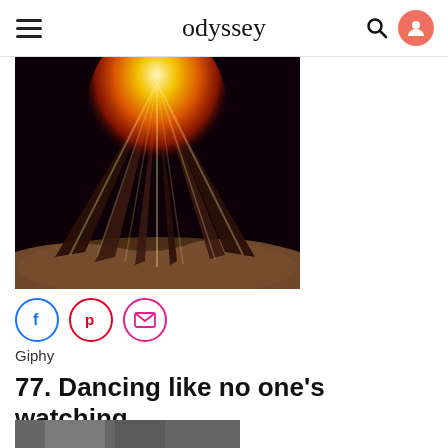odyssey
[Figure (photo): Bonfire at night — tall cone of logs burning with bright flames against dark background, lit ground visible below]
[Figure (infographic): Three social share buttons: Facebook (blue circle with f), Pinterest (red circle with p), Email (pink circle with envelope icon)]
Giphy
77. Dancing like no one's watching
[Figure (photo): Partial bottom image strip, cut off at page edge]